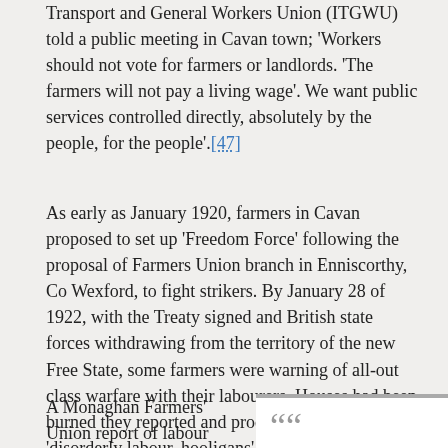Transport and General Workers Union (ITGWU) told a public meeting in Cavan town; 'Workers should not vote for farmers or landlords. 'The farmers will not pay a living wage'. We want public services controlled directly, absolutely by the people, for the people'.[47]
As early as January 1920, farmers in Cavan proposed to set up 'Freedom Force' following the proposal of Farmers Union branch in Enniscorthy, Co Wexford, to fight strikers. By January 28 of 1922, with the Treaty signed and British state forces withdrawing from the territory of the new Free State, some farmers were warning of all-out class warfare with their labourers. Houses had been burned they reported and produce burnt by 'disorderly labour, hooligans'.
A Monaghan Farmers' Union report of labour
A 1922 Monaghan